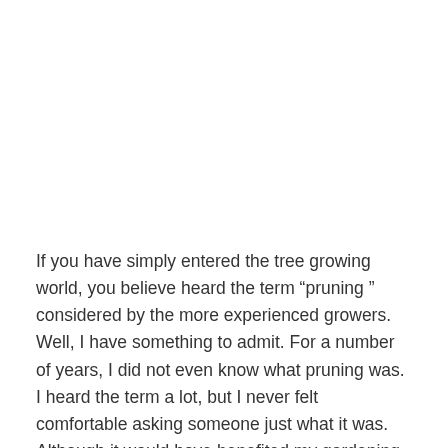If you have simply entered the tree growing world, you believe heard the term “pruning ” considered by the more experienced growers. Well, I have something to admit. For a number of years, I did not even know what pruning was. I heard the term a lot, but I never felt comfortable asking someone just what it was. Although it would have benefited my gardening and tree growing, I was too prideful to ask. I have actually found that pride is the reason for the failure of